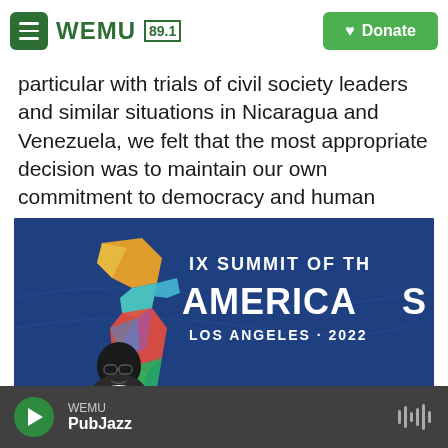WEMU 89.1 | Donate
particular with trials of civil society leaders and similar situations in Nicaragua and Venezuela, we felt that the most appropriate decision was to maintain our own commitment to democracy and human rights in our hemisphere," Nichols said.
[Figure (photo): A man speaking in front of a IX Summit of the Americas Los Angeles 2022 banner/backdrop, with a colorful geometric map of the Americas logo on the left side of the sign.]
WEMU PubJazz